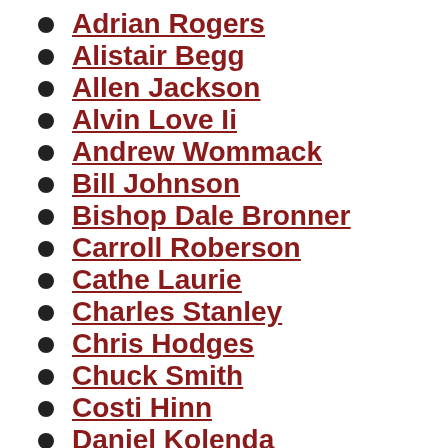Adrian Rogers
Alistair Begg
Allen Jackson
Alvin Love Ii
Andrew Wommack
Bill Johnson
Bishop Dale Bronner
Carroll Roberson
Cathe Laurie
Charles Stanley
Chris Hodges
Chuck Smith
Costi Hinn
Daniel Kolenda
Dave Meyer